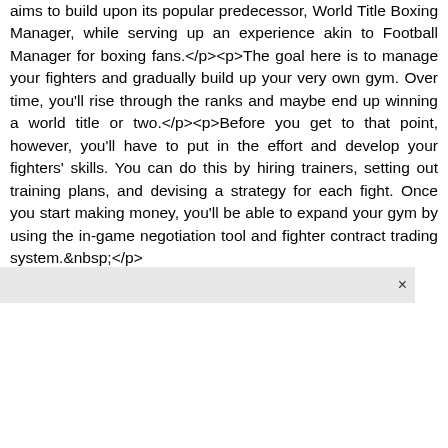aims to build upon its popular predecessor, World Title Boxing Manager, while serving up an experience akin to Football Manager for boxing fans. The goal here is to manage your fighters and gradually build up your very own gym. Over time, you'll rise through the ranks and maybe end up winning a world title or two. Before you get to that point, however, you'll have to put in the effort and develop your fighters' skills. You can do this by hiring trainers, setting out training plans, and devising a strategy for each fight. Once you start making money, you'll be able to expand your gym by using the in-game negotiation tool and fighter contract trading system.